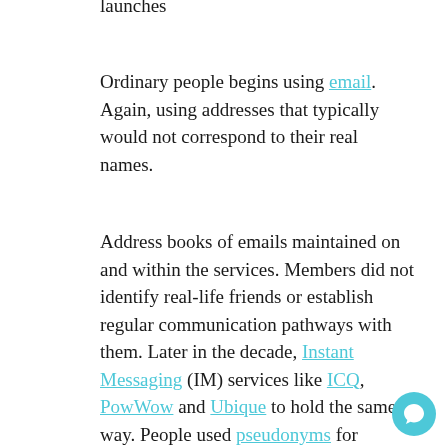launches
Ordinary people begins using email. Again, using addresses that typically would not correspond to their real names.
Address books of emails maintained on and within the services. Members did not identify real-life friends or establish regular communication pathways with them. Later in the decade, Instant Messaging (IM) services like ICQ, PowWow and Ubique to hold the same way. People used pseudonyms for themselves, not their real names.